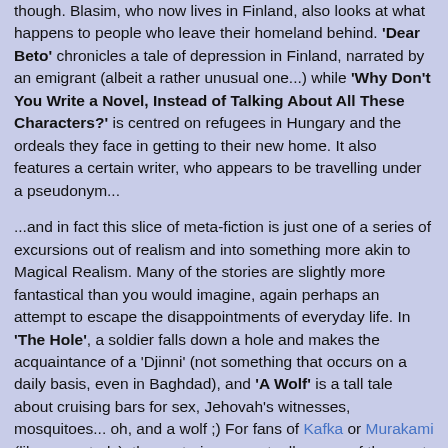though.  Blasim, who now lives in Finland, also looks at what happens to people who leave their homeland behind.  'Dear Beto' chronicles a tale of depression in Finland, narrated by an emigrant (albeit a rather unusual one...) while 'Why Don't You Write a Novel, Instead of Talking About All These Characters?' is centred on refugees in Hungary and the ordeals they face in getting to their new home.  It also features a certain writer, who appears to be travelling under a pseudonym...

...and in fact this slice of meta-fiction is just one of a series of excursions out of realism and into something more akin to Magical Realism.  Many of the stories are slightly more fantastical than you would imagine, again perhaps an attempt to escape the disappointments of everyday life.  In 'The Hole', a soldier falls down a hole and makes the acquaintance of a 'Djinni' (not something that occurs on a daily basis, even in Baghdad), and 'A Wolf' is a tall tale about cruising bars for sex, Jehovah's witnesses, mosquitoes... oh, and a wolf ;)  For fans of Kafka or Murakami (like yours truly), these stories are actually some of the most entertaining in the collection.